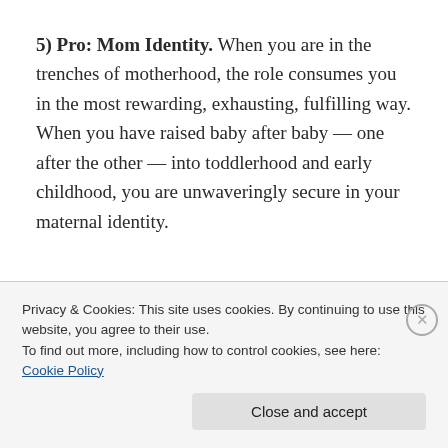5) Pro: Mom Identity. When you are in the trenches of motherhood, the role consumes you in the most rewarding, exhausting, fulfilling way. When you have raised baby after baby — one after the other — into toddlerhood and early childhood, you are unwaveringly secure in your maternal identity.
Privacy & Cookies: This site uses cookies. By continuing to use this website, you agree to their use.
To find out more, including how to control cookies, see here: Cookie Policy